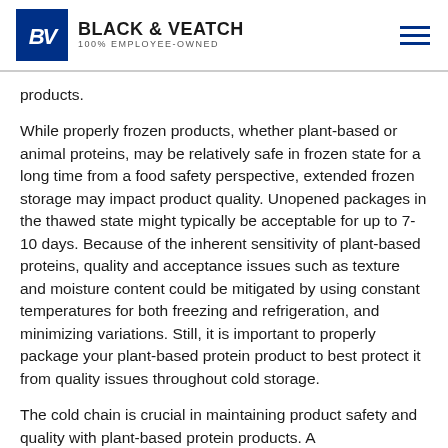BLACK & VEATCH 100% EMPLOYEE-OWNED
products.
While properly frozen products, whether plant-based or animal proteins, may be relatively safe in frozen state for a long time from a food safety perspective, extended frozen storage may impact product quality. Unopened packages in the thawed state might typically be acceptable for up to 7-10 days. Because of the inherent sensitivity of plant-based proteins, quality and acceptance issues such as texture and moisture content could be mitigated by using constant temperatures for both freezing and refrigeration, and minimizing variations. Still, it is important to properly package your plant-based protein product to best protect it from quality issues throughout cold storage.
The cold chain is crucial in maintaining product safety and quality with plant-based protein products. A